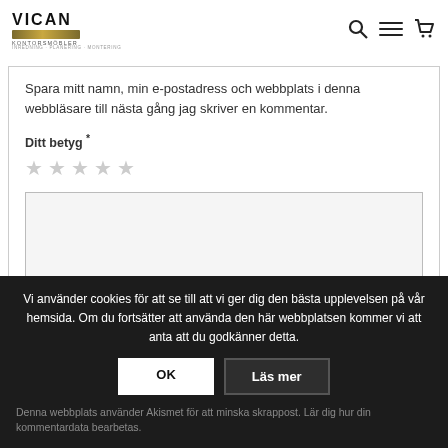[Figure (logo): VICAN Kontorsmöbler logo with gold decorative bar]
Spara mitt namn, min e-postadress och webbplats i denna webbläsare till nästa gång jag skriver en kommentar.
Ditt betyg *
[Figure (other): Five empty star rating widget]
[Figure (other): Empty comment textarea box]
Vi använder cookies för att se till att vi ger dig den bästa upplevelsen på vår hemsida. Om du fortsätter att använda den här webbplatsen kommer vi att anta att du godkänner detta.
OK
Läs mer
Denna webbplats använder Akismet för att minska skrappost. Lär dig hur din kommentardata bearbetas.